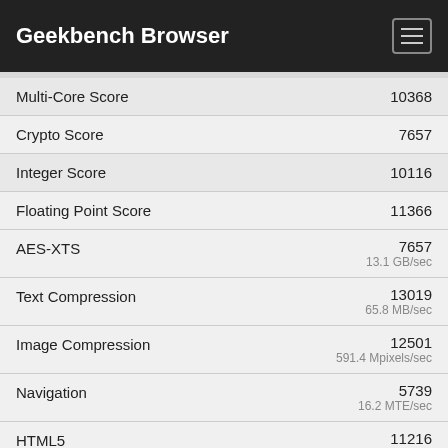Geekbench Browser
| Metric | Score |
| --- | --- |
| Multi-Core Score | 10368 |
| Crypto Score | 7657 |
| Integer Score | 10116 |
| Floating Point Score | 11366 |
| AES-XTS | 7657
13.1 GB/sec |
| Text Compression | 13019
65.8 MB/sec |
| Image Compression | 12501
591.4 Mpixels/sec |
| Navigation | 5739
16.2 MTE/sec |
| HTML5 | 11216 |